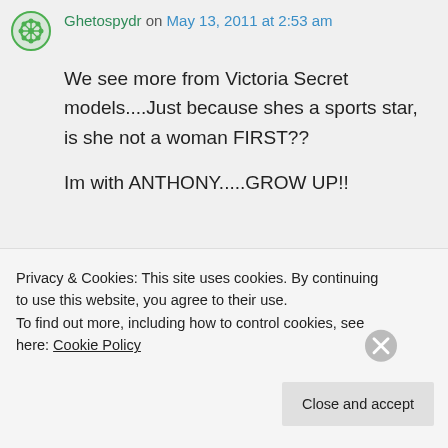Ghetospydr on May 13, 2011 at 2:53 am
We see more from Victoria Secret models....Just because shes a sports star, is she not a woman FIRST??

Im with ANTHONY.....GROW UP!!
Privacy & Cookies: This site uses cookies. By continuing to use this website, you agree to their use.
To find out more, including how to control cookies, see here: Cookie Policy
Close and accept